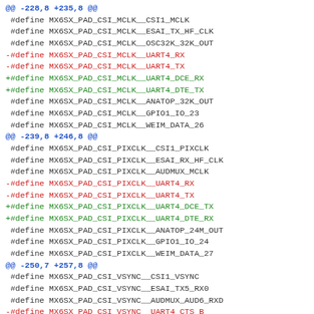@@ -228,8 +235,8 @@
 #define MX6SX_PAD_CSI_MCLK__CSI1_MCLK
 #define MX6SX_PAD_CSI_MCLK__ESAI_TX_HF_CLK
 #define MX6SX_PAD_CSI_MCLK__OSC32K_32K_OUT
-#define MX6SX_PAD_CSI_MCLK__UART4_RX
-#define MX6SX_PAD_CSI_MCLK__UART4_TX
+#define MX6SX_PAD_CSI_MCLK__UART4_DCE_RX
+#define MX6SX_PAD_CSI_MCLK__UART4_DTE_TX
 #define MX6SX_PAD_CSI_MCLK__ANATOP_32K_OUT
 #define MX6SX_PAD_CSI_MCLK__GPIO1_IO_23
 #define MX6SX_PAD_CSI_MCLK__WEIM_DATA_26
@@ -239,8 +246,8 @@
 #define MX6SX_PAD_CSI_PIXCLK__CSI1_PIXCLK
 #define MX6SX_PAD_CSI_PIXCLK__ESAI_RX_HF_CLK
 #define MX6SX_PAD_CSI_PIXCLK__AUDMUX_MCLK
-#define MX6SX_PAD_CSI_PIXCLK__UART4_RX
-#define MX6SX_PAD_CSI_PIXCLK__UART4_TX
+#define MX6SX_PAD_CSI_PIXCLK__UART4_DCE_TX
+#define MX6SX_PAD_CSI_PIXCLK__UART4_DTE_RX
 #define MX6SX_PAD_CSI_PIXCLK__ANATOP_24M_OUT
 #define MX6SX_PAD_CSI_PIXCLK__GPIO1_IO_24
 #define MX6SX_PAD_CSI_PIXCLK__WEIM_DATA_27
@@ -250,7 +257,8 @@
 #define MX6SX_PAD_CSI_VSYNC__CSI1_VSYNC
 #define MX6SX_PAD_CSI_VSYNC__ESAI_TX5_RX0
 #define MX6SX_PAD_CSI_VSYNC__AUDMUX_AUD6_RXD
-#define MX6SX_PAD_CSI_VSYNC__UART4_CTS_B
+#define MX6SX_PAD_CSI_VSYNC__UART4_DCE_CTS
+#define MX6SX_PAD_CSI_VSYNC__UART4_DTE_RTS
 #define MX6SX_PAD_CSI_VSYNC__MQS_RIGHT